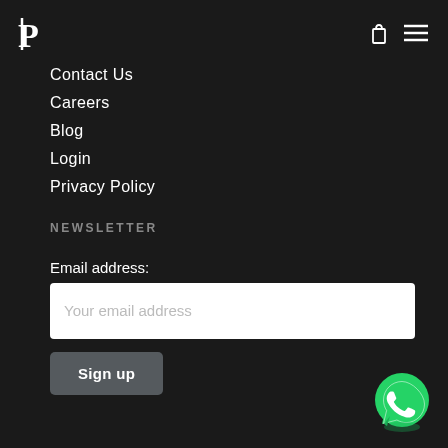P [logo] | [bag icon] [menu icon]
Contact Us
Careers
Blog
Login
Privacy Policy
NEWSLETTER
Email address:
Your email address
Sign up
[Figure (logo): WhatsApp green logo icon at bottom right]